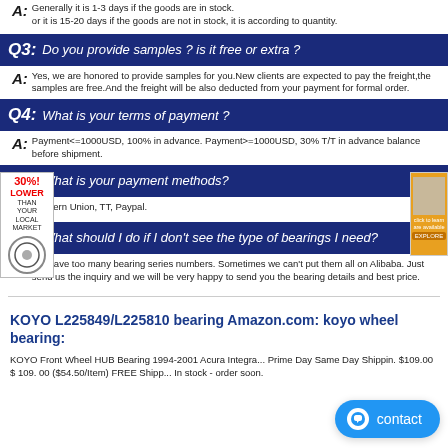A: Generally it is 1-3 days if the goods are in stock. or it is 15-20 days if the goods are not in stock, it is according to quantity.
Q3: Do you provide samples ? is it free or extra ?
A: Yes, we are honored to provide samples for you.New clients are expected to pay the freight,the samples are free.And the freight will be also deducted from your payment for formal order.
Q4: What is your terms of payment ?
A: Payment<=1000USD, 100% in advance. Payment>=1000USD, 30% T/T in advance balance before shipment.
Q5: What is your payment methods?
A: Western Union, TT, Paypal.
Q6: What should I do if I don't see the type of bearings I need?
A: We have too many bearing series numbers. Sometimes we can't put them all on Alibaba. Just send us the inquiry and we will be very happy to send you the bearing details and best price.
KOYO L225849/L225810 bearing Amazon.com: koyo wheel bearing:
KOYO Front Wheel HUB Bearing 1994-2001 Acura Integra... Prime Day Same Day Shippin. $109.00 $ 109. 00 ($54.50/Item) FREE Shipping... In stock - order soon.